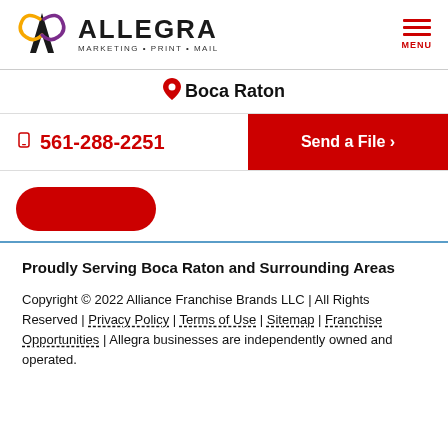[Figure (logo): Allegra Marketing Print Mail logo with stylized A icon]
Boca Raton
561-288-2251
Send a File ›
Proudly Serving Boca Raton and Surrounding Areas
Copyright © 2022 Alliance Franchise Brands LLC | All Rights Reserved | Privacy Policy | Terms of Use | Sitemap | Franchise Opportunities | Allegra businesses are independently owned and operated.